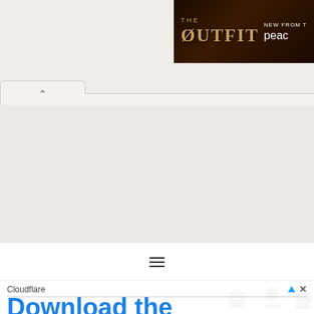[Figure (screenshot): Advertisement banner for 'The Outfit' TV show on Peacock, dark brown/gold background with ornate lettering]
[Figure (screenshot): Browser UI with a tab showing a chevron/up-arrow button and a tab strip]
[Figure (screenshot): Gray content area (main page body placeholder)]
[Figure (screenshot): White navigation bar with hamburger menu icon (three horizontal lines)]
[Figure (screenshot): Cloudflare advertisement bottom bar with 'Download the' text in blue and Cloudflare logo icons]
Cloudflare
Download the